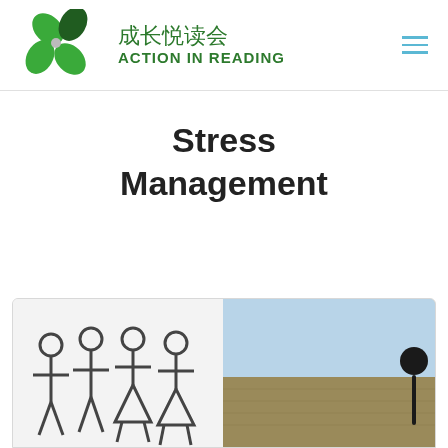[Figure (logo): Action in Reading logo: green four-petal flower icon with Chinese text 成长悦读会 and English text ACTION IN READING]
Stress Management
[Figure (illustration): Card section showing a group of people icons (silhouettes of men and women) on the left, and a photo of a person outdoors in a field on the right.]